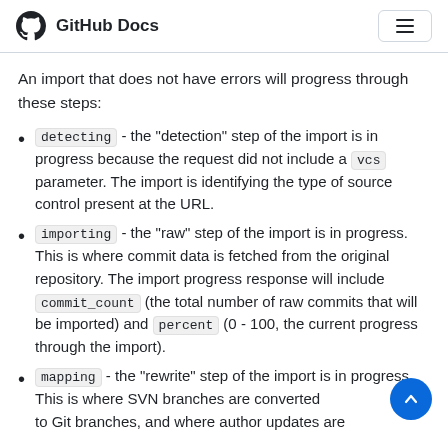GitHub Docs
An import that does not have errors will progress through these steps:
detecting - the "detection" step of the import is in progress because the request did not include a vcs parameter. The import is identifying the type of source control present at the URL.
importing - the "raw" step of the import is in progress. This is where commit data is fetched from the original repository. The import progress response will include commit_count (the total number of raw commits that will be imported) and percent (0 - 100, the current progress through the import).
mapping - the "rewrite" step of the import is in progress. This is where SVN branches are converted to Git branches, and where author updates are